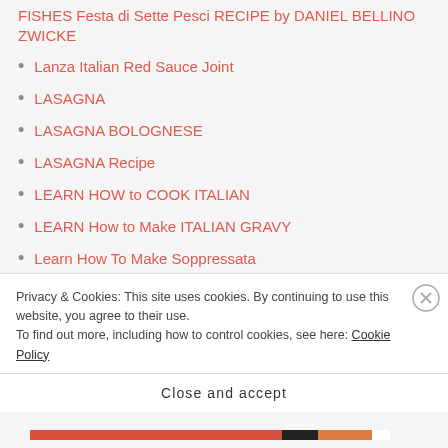FISHES Festa di Sette Pesci RECIPE by DANIEL BELLINO ZWICKE
Lanza Italian Red Sauce Joint
LASAGNA
LASAGNA BOLOGNESE
LASAGNA Recipe
LEARN HOW to COOK ITALIAN
LEARN How to Make ITALIAN GRAVY
Learn How To Make Soppressata
LEARN How to Make SUNDAY SAUCE
Leonardo DaVinci
LERCARA FRIDDI SICILY
Privacy & Cookies: This site uses cookies. By continuing to use this website, you agree to their use.
To find out more, including how to control cookies, see here: Cookie Policy
Close and accept